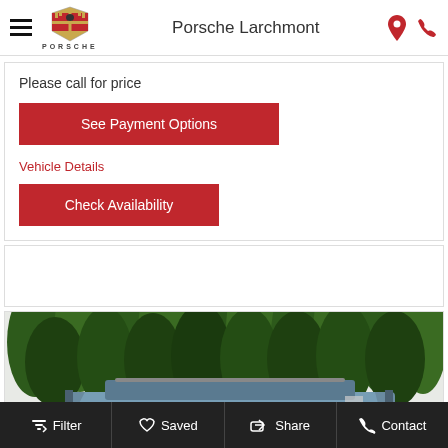Porsche Larchmont
Please call for price
See Payment Options
Vehicle Details
Check Availability
[Figure (photo): Partial view of a vehicle (roof/windshield area) in front of dense green hedges/trees]
Filter  Saved  Share  Contact